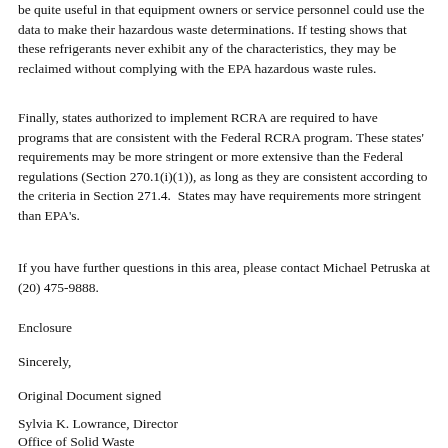be quite useful in that equipment owners or service personnel could use the data to make their hazardous waste determinations. If testing shows that these refrigerants never exhibit any of the characteristics, they may be reclaimed without complying with the EPA hazardous waste rules.
Finally, states authorized to implement RCRA are required to have programs that are consistent with the Federal RCRA program. These states' requirements may be more stringent or more extensive than the Federal regulations (Section 270.1(i)(1)), as long as they are consistent according to the criteria in Section 271.4.  States may have requirements more stringent than EPA's.
If you have further questions in this area, please contact Michael Petruska at (20) 475-9888.
Enclosure
Sincerely,
Original Document signed
Sylvia K. Lowrance, Director
Office of Solid Waste